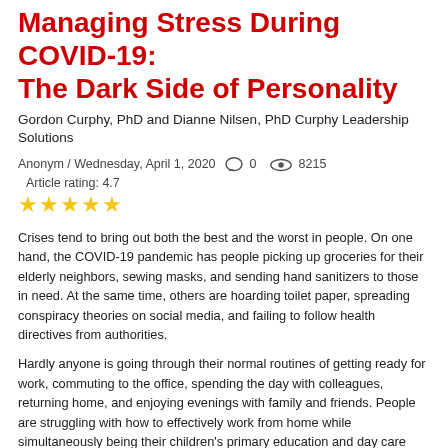Managing Stress During COVID-19: The Dark Side of Personality
Gordon Curphy, PhD and Dianne Nilsen, PhD Curphy Leadership Solutions
Anonym / Wednesday, April 1, 2020   0   8215   Article rating: 4.7
★★★★★
Crises tend to bring out both the best and the worst in people. On one hand, the COVID-19 pandemic has people picking up groceries for their elderly neighbors, sewing masks, and sending hand sanitizers to those in need. At the same time, others are hoarding toilet paper, spreading conspiracy theories on social media, and failing to follow health directives from authorities.
Hardly anyone is going through their normal routines of getting ready for work, commuting to the office, spending the day with colleagues, returning home, and enjoying evenings with family and friends. People are struggling with how to effectively work from home while simultaneously being their children's primary education and day care provider. Health care workers and others deemed essential are working longer hours than ever before, whereas those in the restaurant, bar, entertainment, fitness, hospitality, airline, and cruise industries sit idle.  Consultants and gig economy workers have seen most sources of income dry up, and those still employed have no idea whether their companies will be in business next year. The disruptions to our daily routine, uncertainty about finances, concerns about becoming infected or losing loved ones, and isolation are creating unprecedented levels of